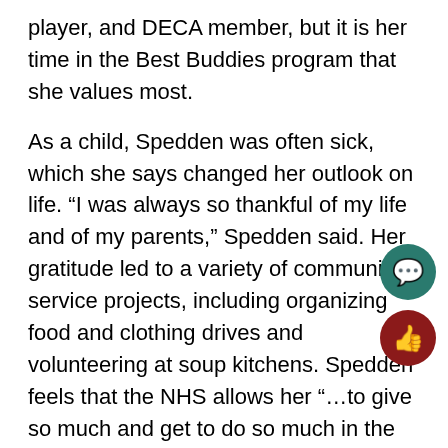player, and DECA member, but it is her time in the Best Buddies program that she values most.
As a child, Spedden was often sick, which she says changed her outlook on life. “I was always so thankful of my life and of my parents,” Spedden said. Her gratitude led to a variety of community service projects, including organizing food and clothing drives and volunteering at soup kitchens. Spedden feels that the NHS allows her “…to give so much and get to do so much in the community,” which is her favorite way to spend her time.
Spedden first started babysitting at thirteen, and quickly decided that she wanted to do more. It was long before she was working at her local daycare, where she was placed in a four-year-old classroom. Spedden immediately “…made a special connectio with one of the children who had autism.” Spedden